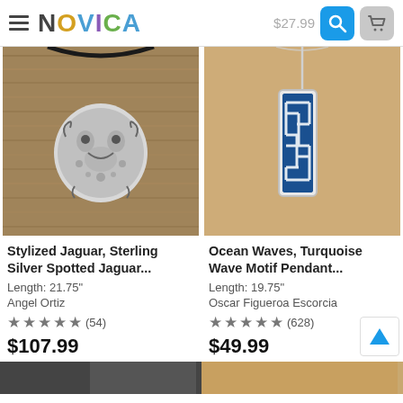NOVICA — $27.99
[Figure (photo): Sterling silver jaguar pendant necklace on wooden surface]
Stylized Jaguar, Sterling Silver Spotted Jaguar...
Length: 21.75"
Angel Ortiz
★★★★★ (54)
$107.99
[Figure (photo): Turquoise wave motif pendant necklace on chain, tan background]
Ocean Waves, Turquoise Wave Motif Pendant...
Length: 19.75"
Oscar Figueroa Escorcia
★★★★★ (628)
$49.99
[Figure (photo): Partial product images at the bottom of the page (clipped)]